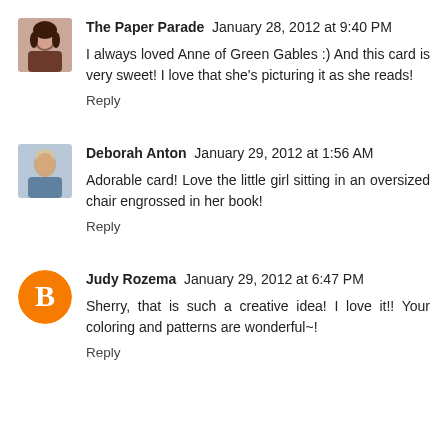[Figure (photo): Small avatar photo of The Paper Parade commenter - woman with dark hair]
The Paper Parade  January 28, 2012 at 9:40 PM
I always loved Anne of Green Gables :) And this card is very sweet! I love that she's picturing it as she reads!
Reply
[Figure (photo): Small avatar photo of Deborah Anton commenter - person with short hair]
Deborah Anton  January 29, 2012 at 1:56 AM
Adorable card! Love the little girl sitting in an oversized chair engrossed in her book!
Reply
[Figure (logo): Blogger orange circle B logo for Judy Rozema commenter]
Judy Rozema  January 29, 2012 at 6:47 PM
Sherry, that is such a creative idea! I love it!! Your coloring and patterns are wonderful~!
Reply